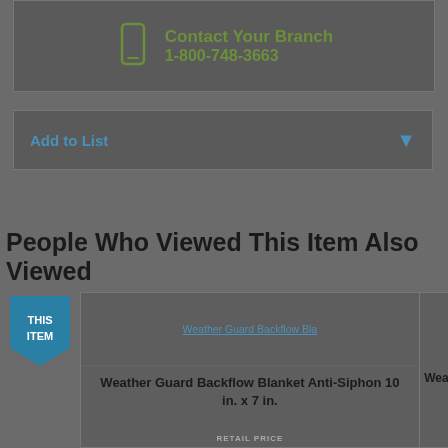Contact Your Branch
1-800-748-3663
Add to List
People Who Viewed This Item Also Viewed
[Figure (screenshot): THIS ITEM badge (teal shield shape)]
[Figure (screenshot): Weather Guard Backflow Bla[nket] product image placeholder]
Weather Guard Backflow Blanket Anti-Siphon 10 in. x 7 in.
Weather Gu[ard] (partial, second product card)
RETAIL PRICE